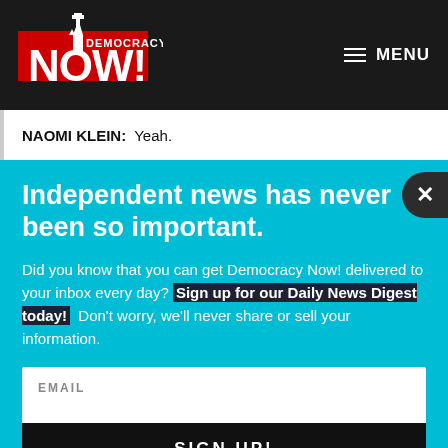Democracy Now! — MENU
NAOMI KLEIN: Yeah.
Independent news has never been so important.
Did you know that you can get Democracy Now! delivered to your inbox every day? Sign up for our Daily News Digest today! Don't worry, we'll never share or sell your information.
EMAIL
SIGN UP!